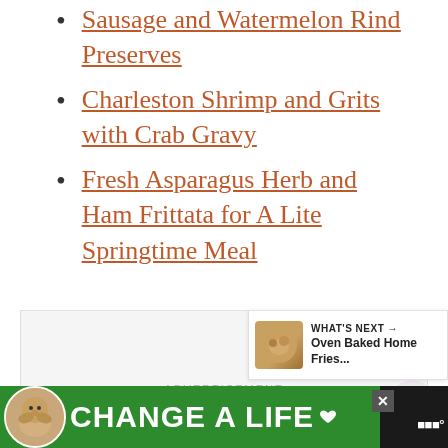Sausage and Watermelon Rind Preserves
Charleston Shrimp and Grits with Crab Gravy
Fresh Asparagus Herb and Ham Frittata for A Lite Springtime Meal
[Figure (other): Advertisement placeholder area with 'ADVERTISEMENT' label, heart button, share button, What's Next panel showing Oven Baked Home Fries]
[Figure (other): Bottom banner advertisement: dark background with green section, dog image, 'CHANGE A LIFE' text in white, close button, heart icon, and Wowcher logo]